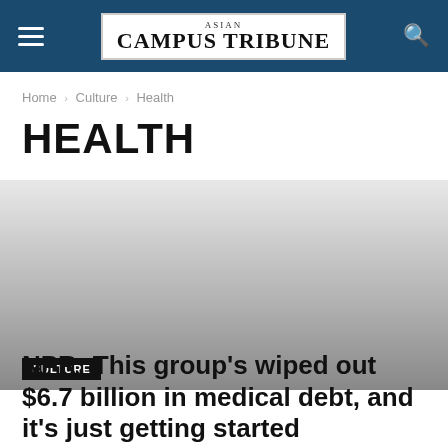ASIAN CAMPUS TRIBUNE
Home › Culture › Health
HEALTH
[Figure (photo): Gray gradient background image area for article thumbnail]
CULTURE
NPR: This group's wiped out $6.7 billion in medical debt, and it's just getting started